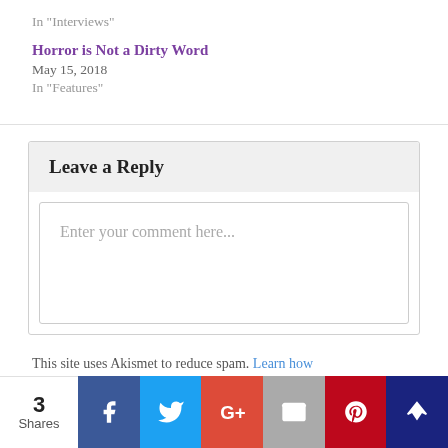In "Interviews"
Horror is Not a Dirty Word
May 15, 2018
In "Features"
Leave a Reply
Enter your comment here...
This site uses Akismet to reduce spam. Learn how
3 Shares